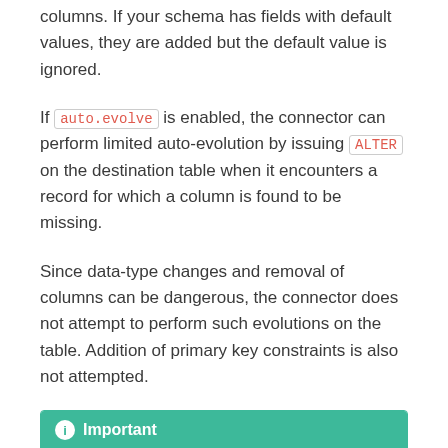columns. If your schema has fields with default values, they are added but the default value is ignored.
If auto.evolve is enabled, the connector can perform limited auto-evolution by issuing ALTER on the destination table when it encounters a record for which a column is found to be missing.
Since data-type changes and removal of columns can be dangerous, the connector does not attempt to perform such evolutions on the table. Addition of primary key constraints is also not attempted.
Important
For backward-compatible tab new fields in record schema must be optional. Mandatory fields, with or without a default value, are